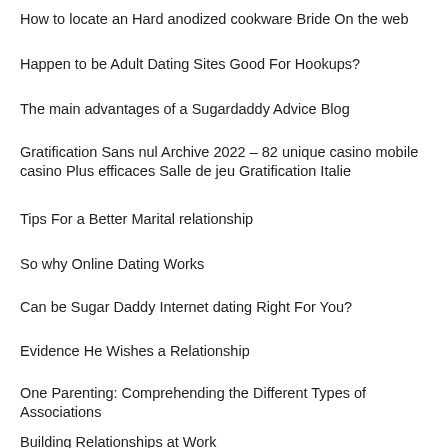How to locate an Hard anodized cookware Bride On the web
Happen to be Adult Dating Sites Good For Hookups?
The main advantages of a Sugardaddy Advice Blog
Gratification Sans nul Archive 2022 – 82 unique casino mobile casino Plus efficaces Salle de jeu Gratification Italie
Tips For a Better Marital relationship
So why Online Dating Works
Can be Sugar Daddy Internet dating Right For You?
Evidence He Wishes a Relationship
One Parenting: Comprehending the Different Types of Associations
Building Relationships at Work